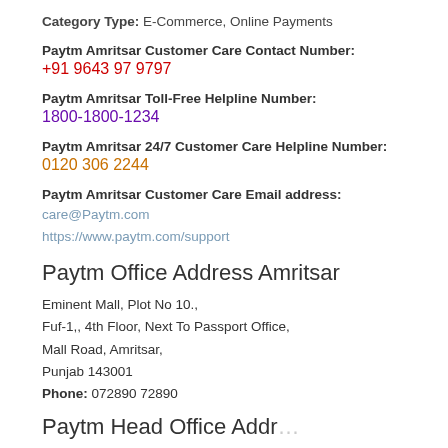Category Type: E-Commerce, Online Payments
Paytm Amritsar Customer Care Contact Number:
+91 9643 97 9797
Paytm Amritsar Toll-Free Helpline Number:
1800-1800-1234
Paytm Amritsar 24/7 Customer Care Helpline Number:
0120 306 2244
Paytm Amritsar Customer Care Email address:
care@Paytm.com
https://www.paytm.com/support
Paytm Office Address Amritsar
Eminent Mall, Plot No 10.,
Fuf-1,, 4th Floor, Next To Passport Office,
Mall Road, Amritsar,
Punjab 143001
Phone: 072890 72890
Paytm Head Office Address